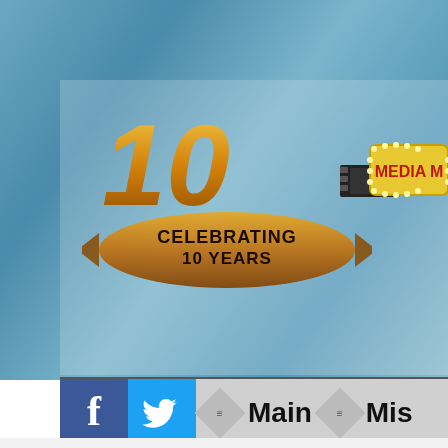[Figure (screenshot): Website header with '10 - Celebrating 10 Years' anniversary logo in gold and brown ribbons, film reel and 'MEDIA M...' marquee sign on teal/blue bokeh background]
[Figure (screenshot): Navigation bar with Facebook (blue f) and Twitter (bird) social icons, diamond menu icons, 'Main' and 'Mis...' navigation links on gray background]
RECENT POSTS
This is GWAR Blu-Ray and DVD Coming October 25th!
Film Review: “When I Consume You”
Kansas City Theater Review: “Anastasia”